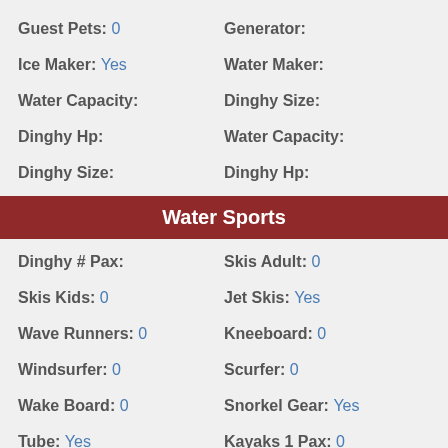Guest Pets: 0
Generator:
Ice Maker: Yes
Water Maker:
Water Capacity:
Dinghy Size:
Dinghy Hp:
Water Capacity:
Dinghy Size:
Dinghy Hp:
Water Sports
Dinghy # Pax:
Skis Adult: 0
Skis Kids: 0
Jet Skis: Yes
Wave Runners: 0
Kneeboard: 0
Windsurfer: 0
Scurfer: 0
Wake Board: 0
Snorkel Gear: Yes
Tube: Yes
Kayaks 1 Pax: 0